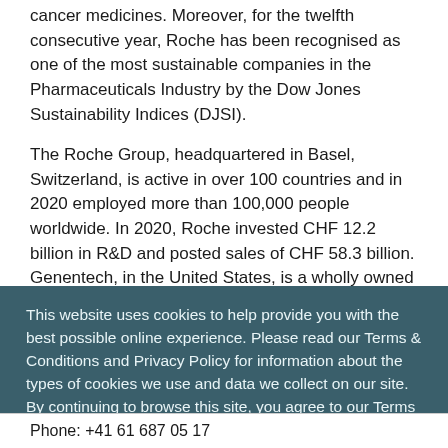cancer medicines. Moreover, for the twelfth consecutive year, Roche has been recognised as one of the most sustainable companies in the Pharmaceuticals Industry by the Dow Jones Sustainability Indices (DJSI).
The Roche Group, headquartered in Basel, Switzerland, is active in over 100 countries and in 2020 employed more than 100,000 people worldwide. In 2020, Roche invested CHF 12.2 billion in R&D and posted sales of CHF 58.3 billion. Genentech, in the United States, is a wholly owned member of the Roche Group. Roche is the majority shareholder in Chugai Pharmaceutical, Japan. For more information, please visit www.roche.com.
This website uses cookies to help provide you with the best possible online experience. Please read our Terms & Conditions and Privacy Policy for information about the types of cookies we use and data we collect on our site. By continuing to browse this site, you agree to our Terms & Conditions and that we may place and access cookies on your device.
I AGREE
Phone: +41 61 687 05 17